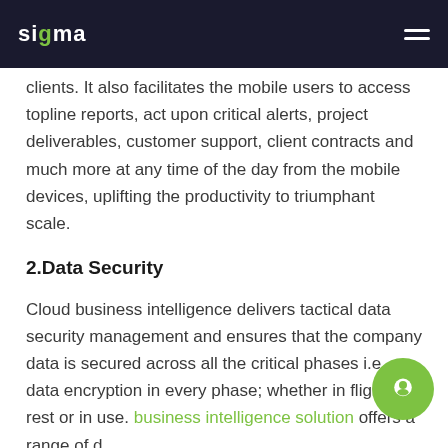sigma
clients. It also facilitates the mobile users to access topline reports, act upon critical alerts, project deliverables, customer support, client contracts and much more at any time of the day from the mobile devices, uplifting the productivity to triumphant scale.
2.Data Security
Cloud business intelligence delivers tactical data security management and ensures that the company data is secured across all the critical phases i.e. data encryption in every phase; whether in flight, on rest or in use. business intelligence solution offers a range of data security features and protocols like voice recognition and